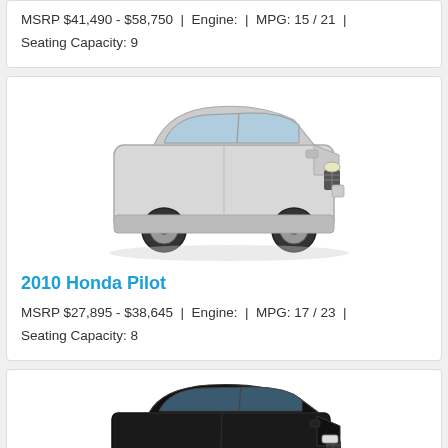MSRP $41,490 - $58,750  |  Engine:  |  MPG: 15 / 21  |  Seating Capacity: 9
[Figure (photo): 2010 Honda Pilot SUV in silver, three-quarter front view]
2010 Honda Pilot
MSRP $27,895 - $38,645  |  Engine:  |  MPG: 17 / 23  |  Seating Capacity: 8
[Figure (photo): Dark/black Jeep Grand Cherokee SUV, three-quarter front view]